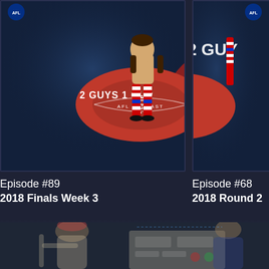[Figure (illustration): Podcast thumbnail for '2 Guys 1 Cup AFL Podcast' showing cartoon character sitting on a large AFL football with colorful striped socks, dark blue background]
[Figure (illustration): Partial podcast thumbnail for '2 Guys' podcast, partially cropped on right side, dark blue background]
Episode #89
2018 Finals Week 3
Episode #68
2018 Round 2
[Figure (illustration): Blurred cartoon illustration of two characters at a desk/console setup, partial view at bottom of page]